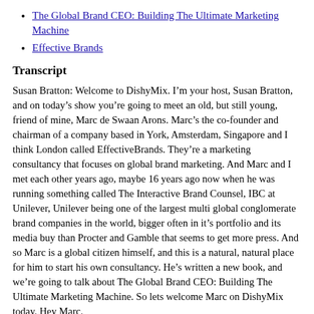The Global Brand CEO: Building The Ultimate Marketing Machine
Effective Brands
Transcript
Susan Bratton: Welcome to DishyMix. I'm your host, Susan Bratton, and on today's show you're going to meet an old, but still young, friend of mine, Marc de Swaan Arons. Marc's the co-founder and chairman of a company based in York, Amsterdam, Singapore and I think London called EffectiveBrands. They're a marketing consultancy that focuses on global brand marketing. And Marc and I met each other years ago, maybe 16 years ago now when he was running something called The Interactive Brand Counsel, IBC at Unilever, Unilever being one of the largest multi global conglomerate brand companies in the world, bigger often in it's portfolio and its media buy than Procter and Gamble that seems to get more press. And so Marc is a global citizen himself, and this is a natural, natural place for him to start his own consultancy. He's written a new book, and we're going to talk about The Global Brand CEO: Building The Ultimate Marketing Machine. So lets welcome Marc on DishyMix today. Hey Marc.
Marc de Swaan Arons: Hey Susan. It's very exciting and thank you